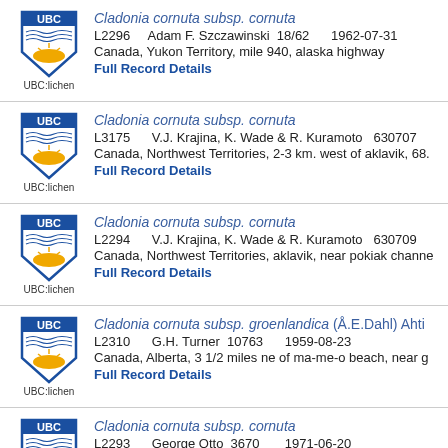Cladonia cornuta subsp. cornuta | L2296 Adam F. Szczawinski 18/62 1962-07-31 | Canada, Yukon Territory, mile 940, alaska highway | Full Record Details
Cladonia cornuta subsp. cornuta | L3175 V.J. Krajina, K. Wade & R. Kuramoto 6307072 | Canada, Northwest Territories, 2-3 km. west of aklavik, 68. | Full Record Details
Cladonia cornuta subsp. cornuta | L2294 V.J. Krajina, K. Wade & R. Kuramoto 6307090 | Canada, Northwest Territories, aklavik, near pokiak channe | Full Record Details
Cladonia cornuta subsp. groenlandica (Å.E.Dahl) Ahti | L2310 G.H. Turner 10763 1959-08-23 | Canada, Alberta, 3 1/2 miles ne of ma-me-o beach, near g | Full Record Details
Cladonia cornuta subsp. cornuta | L2293 George Otto 3670 1971-06-20 | Canada, Alberta, north saskatchewan river watershed; 3 m | Full Record Details